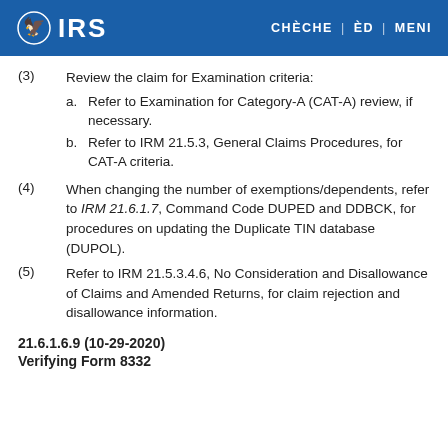IRS | CHÈCHE | ÈD | MENI
(3) Review the claim for Examination criteria: a. Refer to Examination for Category-A (CAT-A) review, if necessary. b. Refer to IRM 21.5.3, General Claims Procedures, for CAT-A criteria.
(4) When changing the number of exemptions/dependents, refer to IRM 21.6.1.7, Command Code DUPED and DDBCK, for procedures on updating the Duplicate TIN database (DUPOL).
(5) Refer to IRM 21.5.3.4.6, No Consideration and Disallowance of Claims and Amended Returns, for claim rejection and disallowance information.
21.6.1.6.9 (10-29-2020)
Verifying Form 8332